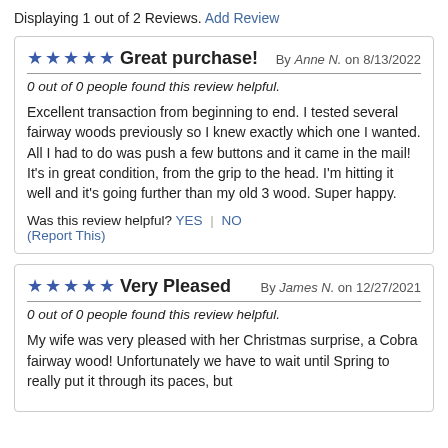Displaying 1 out of 2 Reviews. Add Review
Great purchase! By Anne N. on 8/13/2022
0 out of 0 people found this review helpful.
Excellent transaction from beginning to end. I tested several fairway woods previously so I knew exactly which one I wanted. All I had to do was push a few buttons and it came in the mail! It's in great condition, from the grip to the head. I'm hitting it well and it's going further than my old 3 wood. Super happy.
Was this review helpful? YES | NO (Report This)
Very Pleased By James N. on 12/27/2021
0 out of 0 people found this review helpful.
My wife was very pleased with her Christmas surprise, a Cobra fairway wood! Unfortunately we have to wait until Spring to really put it through its paces, but